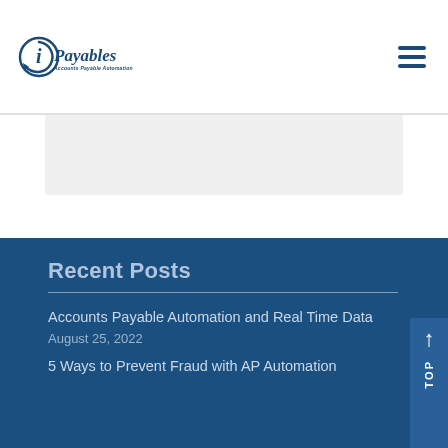iPayables – Accounts Payable Automation
[Figure (logo): iPayables logo with circular arrow motif and text 'iPayables Accounts Payable Automation' in dark blue]
Recent Posts
Accounts Payable Automation and Real Time Data
August 25, 2022
5 Ways to Prevent Fraud with AP Automation